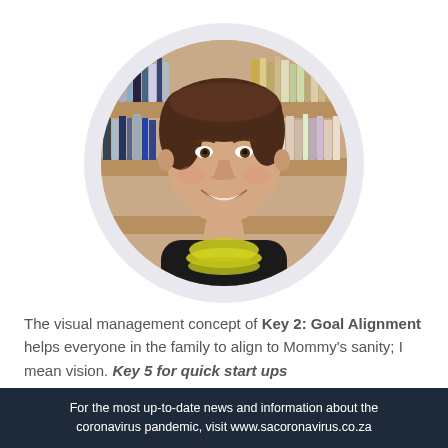[Figure (photo): Circular portrait photo of a woman smiling, wearing a black top and yellow beaded necklace, with bookshelves in the background. The circle photo is set inside a larger light-grey circle on a white background.]
The visual management concept of Key 2: Goal Alignment helps everyone in the family to align to Mommy's sanity; I mean vision. Key 5 for quick start ups
For the most up-to-date news and information about the coronavirus pandemic, visit www.sacoronavirus.co.za